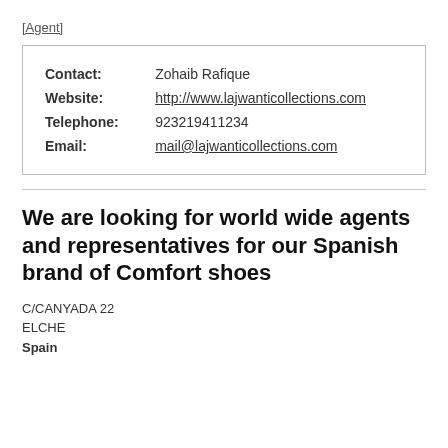[Agent]
| Contact: | Zohaib Rafique |
| Website: | http://www.lajwanticollections.com |
| Telephone: | 923219411234 |
| Email: | mail@lajwanticollections.com |
We are looking for world wide agents and representatives for our Spanish brand of Comfort shoes
C/CANYADA 22
ELCHE
Spain